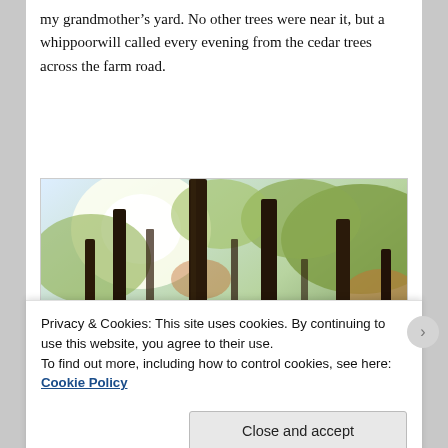my grandmother’s yard. No other trees were near it, but a whippoorwill called every evening from the cedar trees across the farm road.
[Figure (photo): Photograph of tall trees in a forest with sunlight filtering through the canopy; autumn foliage visible on surrounding trees.]
Privacy & Cookies: This site uses cookies. By continuing to use this website, you agree to their use.
To find out more, including how to control cookies, see here: Cookie Policy
Close and accept